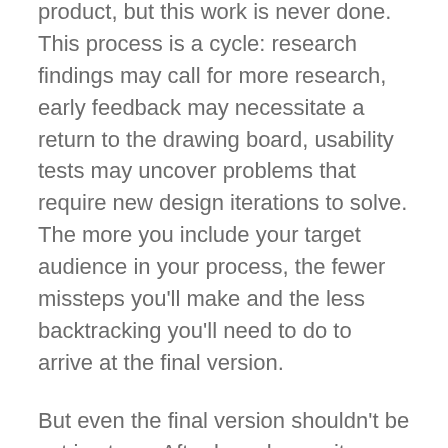product, but this work is never done. This process is a cycle: research findings may call for more research, early feedback may necessitate a return to the drawing board, usability tests may uncover problems that require new design iterations to solve. The more you include your target audience in your process, the fewer missteps you'll make and the less backtracking you'll need to do to arrive at the final version.
But even the final version shouldn't be set in stone. After launch, monitor customer experience data, gather feedback, talk to your support staff, and evaluate both your own product and those of competitors to unearth potential ideas on which to consult your target audience. The methods mentioned in this article merely scratch the surface, and there are many different